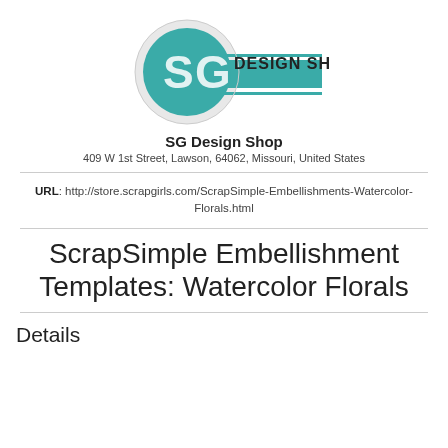[Figure (logo): SG Design Shop logo with teal circular badge showing 'SG' initials and horizontal teal bar with 'DESIGN SHOP' text]
SG Design Shop
409 W 1st Street, Lawson, 64062, Missouri, United States
URL: http://store.scrapgirls.com/ScrapSimple-Embellishments-Watercolor-Florals.html
ScrapSimple Embellishment Templates: Watercolor Florals
Details